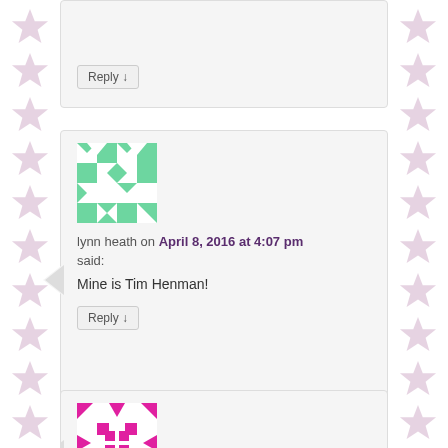[Figure (screenshot): Blog comment section showing two comment blocks with avatars and a partial third. Stars decorative pattern on left and right margins.]
Reply ↓
lynn heath on April 8, 2016 at 4:07 pm said:
Mine is Tim Henman!
Reply ↓
lyn Burgess on April 8, 2016 at 5:59